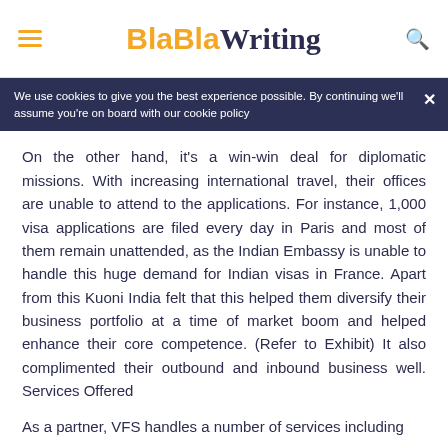BlaBlaWriting
We use cookies to give you the best experience possible. By continuing we'll assume you're on board with our cookie policy
On the other hand, it's a win-win deal for diplomatic missions. With increasing international travel, their offices are unable to attend to the applications. For instance, 1,000 visa applications are filed every day in Paris and most of them remain unattended, as the Indian Embassy is unable to handle this huge demand for Indian visas in France. Apart from this Kuoni India felt that this helped them diversify their business portfolio at a time of market boom and helped enhance their core competence. (Refer to Exhibit) It also complimented their outbound and inbound business well. Services Offered
As a partner, VFS handles a number of services including